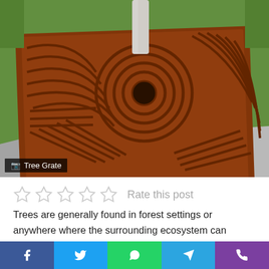[Figure (photo): A brown decorative metal tree grate with curved and linear slot patterns surrounding a tree trunk, set in a concrete pavement with green grass in the background.]
Tree Grate
Rate this post
Trees are generally found in forest settings or anywhere where the surrounding ecosystem can support their growth. The trees in urban environments don't have this privilege. They have to withstand harsh circumstances such as pavements, increasing urban temperatures caused by factors like